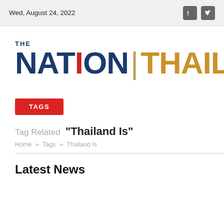Wed, August 24, 2022
[Figure (logo): The Nation Thailand logo with blue 'THE NATION' text (red letter I) and gold 'THAILAND' text separated by a vertical pipe]
TAGS
Tag Related "Thailand Is"
Home » Tags » Thailand Is
Latest News